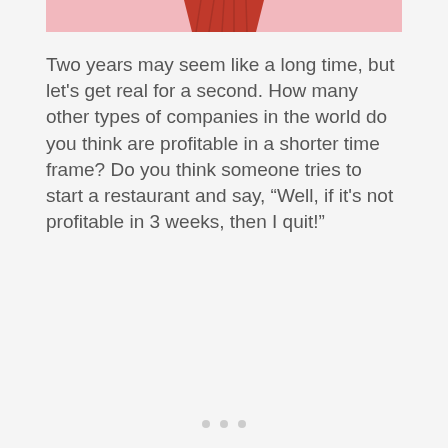[Figure (photo): Top portion of a red cupcake/cup on a pink background, cropped at the top of the page]
Two years may seem like a long time, but let's get real for a second. How many other types of companies in the world do you think are profitable in a shorter time frame? Do you think someone tries to start a restaurant and say, “Well, if it's not profitable in 3 weeks, then I quit!”
[Figure (photo): Second image area - mostly white/blank lower portion of image]
• • •